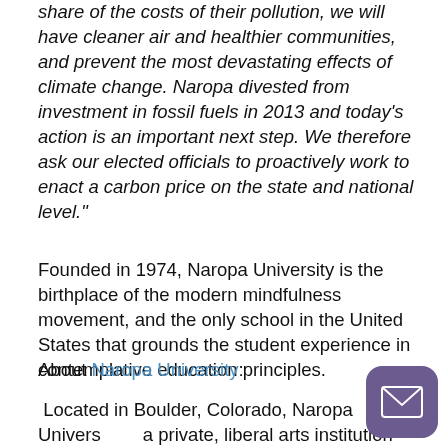share of the costs of their pollution, we will have cleaner air and healthier communities, and prevent the most devastating effects of climate change. Naropa divested from investment in fossil fuels in 2013 and today's action is an important next step. We therefore ask our elected officials to proactively work to enact a carbon price on the state and national level."
Founded in 1974, Naropa University is the birthplace of the modern mindfulness movement, and the only school in the United States that grounds the student experience in contemplative education principles.
About Naropa University:
Located in Boulder, Colorado, Naropa University is a private, liberal arts institution offering